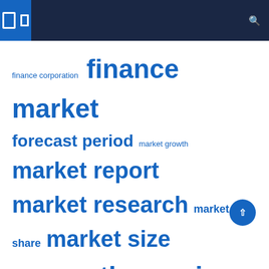Navigation header bar with icons
finance corporation  finance market  forecast period  market growth  market report  market research  market share  market size  middle east  north america  research report  united states
Recent Posts
Finance that is based on borrowing money
Islamic Finance Market Expected to See Promising Growth by 2027
International Finance Corporation backs $10m Carbon Opportunity